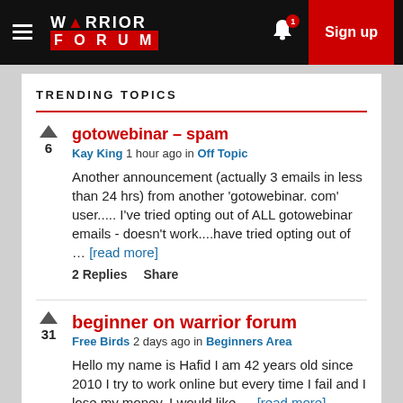WARRIOR FORUM — Sign up
TRENDING TOPICS
gotowebinar – spam
Kay King 1 hour ago in Off Topic
Another announcement (actually 3 emails in less than 24 hrs) from another 'gotowebinar. com' user..... I've tried opting out of ALL gotowebinar emails - doesn't work....have tried opting out of ... [read more]
2 Replies  Share
beginner on warrior forum
Free Birds 2 days ago in Beginners Area
Hello my name is Hafid I am 42 years old since 2010 I try to work online but every time I fail and I lose my money. I would like ... [read more]